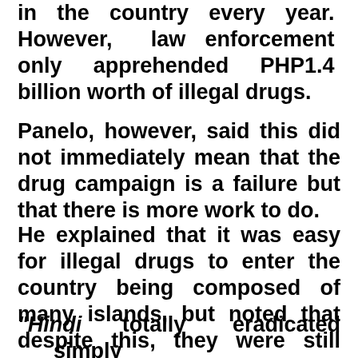in the country every year. However, law enforcement only apprehended PHP1.4 billion worth of illegal drugs.
Panelo, however, said this did not immediately mean that the drug campaign is a failure but that there is more work to do.
He explained that it was easy for illegal drugs to enter the country being composed of many islands, but noted that despite this, they were still being captured by authorities.
“Hindi totally eradicated simply because marami na ring pumasok paro yung